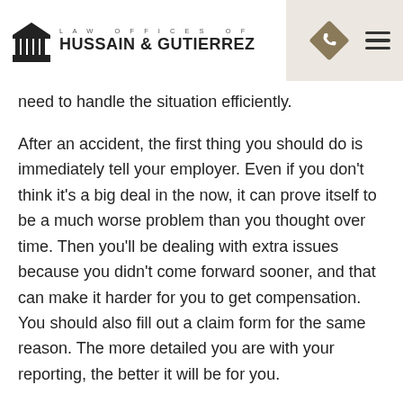LAW OFFICES OF HUSSAIN & GUTIERREZ
need to handle the situation efficiently.
After an accident, the first thing you should do is immediately tell your employer. Even if you don't think it's a big deal in the now, it can prove itself to be a much worse problem than you thought over time. Then you'll be dealing with extra issues because you didn't come forward sooner, and that can make it harder for you to get compensation. You should also fill out a claim form for the same reason. The more detailed you are with your reporting, the better it will be for you.
Of course, medical care is still important. This should be your first step if your injury is very severe. Otherwise, it can